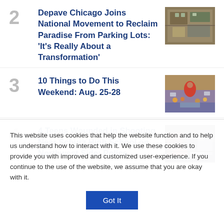2 Depave Chicago Joins National Movement to Reclaim Paradise From Parking Lots: ‘It’s Really About a Transformation’
[Figure (photo): Aerial view of a parking lot being converted to green space]
3 10 Things to Do This Weekend: Aug. 25-28
[Figure (photo): Crowd at an outdoor event with a performer in red]
4 4 Teens Wounded in Shooting Near Schurz High School on Northwest Side: Police
[Figure (photo): Street scene near Schurz High School with emergency vehicles]
This website uses cookies that help the website function and to help us understand how to interact with it. We use these cookies to provide you with improved and customized user-experience. If you continue to the use of the website, we assume that you are okay with it.
Got It